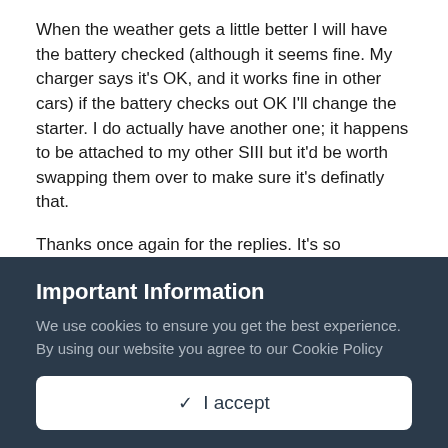When the weather gets a little better I will have the battery checked (although it seems fine. My charger says it's OK, and it works fine in other cars) if the battery checks out OK I'll change the starter. I do actually have another one; it happens to be attached to my other SIII but it'd be worth swapping them over to make sure it's definatly that.
Thanks once again for the replies. It's so frustrating because the engine runs very well once it's going, and starts very easily when jumped.
+ Quote
Important Information
We use cookies to ensure you get the best experience. By using our website you agree to our Cookie Policy
✓  I accept